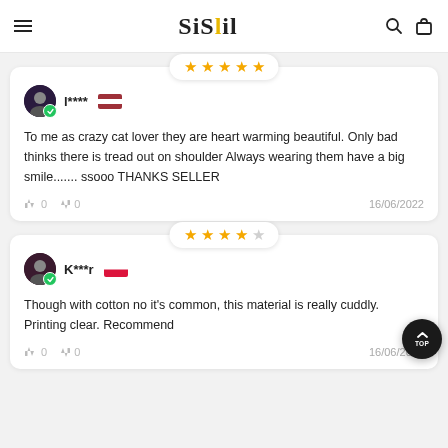SiSlil
[Figure (other): 5 gold stars rating badge in a pill/badge shape]
l**** [Latvia flag]
To me as crazy cat lover they are heart warming beautiful. Only bad thinks there is tread out on shoulder Always wearing them have a big smile....... ssooo THANKS SELLER
0  0  16/06/2022
[Figure (other): 4 gold stars and 1 empty star rating badge in a pill/badge shape]
K***r [Poland flag]
Though with cotton no it's common, this material is really cuddly. Printing clear. Recommend
0  0  16/06/2022